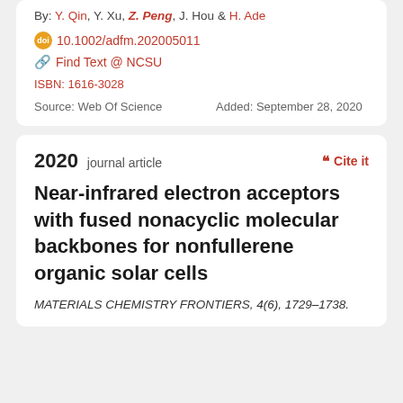By: Y. Qin, Y. Xu, Z. Peng, J. Hou & H. Ade
10.1002/adfm.202005011
Find Text @ NCSU
ISBN: 1616-3028
Source: Web Of Science   Added: September 28, 2020
2020 journal article
Near-infrared electron acceptors with fused nonacyclic molecular backbones for nonfullerene organic solar cells
MATERIALS CHEMISTRY FRONTIERS, 4(6), 1729–1738.